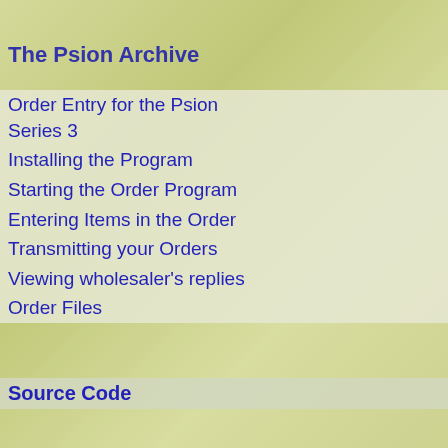The Psion Archive
Order Entry for the Psion Series 3
Installing the Program
Starting the Order Program
Entering Items in the Order
Transmitting your Orders
Viewing wholesaler's replies
Order Files
Source Code
[Figure (screenshot): Source code listing in green monospace font on dark background, showing C functions: StowThis(VOID), StowHead(VOID), StowAll(VOID), UpCase(TEXT *source), with code snippets including m.SeekTo, f_seek, f_write, p_sound, if statements, and comment lines of asterisks.]